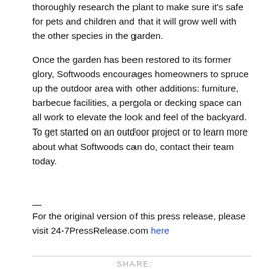thoroughly research the plant to make sure it's safe for pets and children and that it will grow well with the other species in the garden.
Once the garden has been restored to its former glory, Softwoods encourages homeowners to spruce up the outdoor area with other additions: furniture, barbecue facilities, a pergola or decking space can all work to elevate the look and feel of the backyard. To get started on an outdoor project or to learn more about what Softwoods can do, contact their team today.
—
For the original version of this press release, please visit 24-7PressRelease.com here
SHARE: